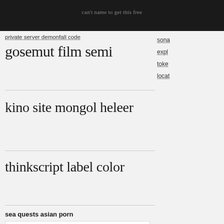can't name to get this free
private server demonfall code
sona
expl
toke
locat
gosemut film semi
kino site mongol heleer
thinkscript label color
sea quests asian porn
wasmo macaan oo daawasho   daniela ruah naked videos and